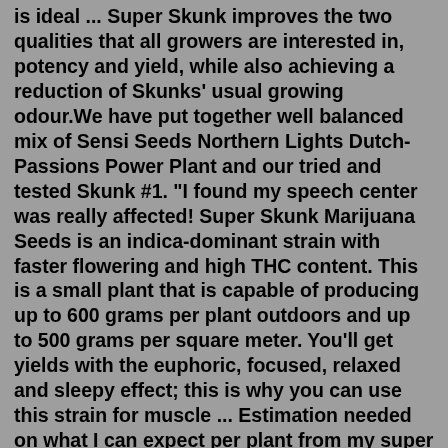is ideal ... Super Skunk improves the two qualities that all growers are interested in, potency and yield, while also achieving a reduction of Skunks' usual growing odour.We have put together well balanced mix of Sensi Seeds Northern Lights Dutch-Passions Power Plant and our tried and tested Skunk #1. "I found my speech center was really affected! Super Skunk Marijuana Seeds is an indica-dominant strain with faster flowering and high THC content. This is a small plant that is capable of producing up to 600 grams per plant outdoors and up to 500 grams per square meter. You'll get yields with the euphoric, focused, relaxed and sleepy effect; this is why you can use this strain for muscle ... Estimation needed on what I can expect per plant from my super skunk. They're in Week 9 of Veg, 38cm tall, mainlined for 8 colas. I want to switch them to 12/12 next week. What can I expect as yield per plant and how is it gonna change if I wait a week longer? Outdoors, the yield tends to be measured in grams per plant. So you'll see